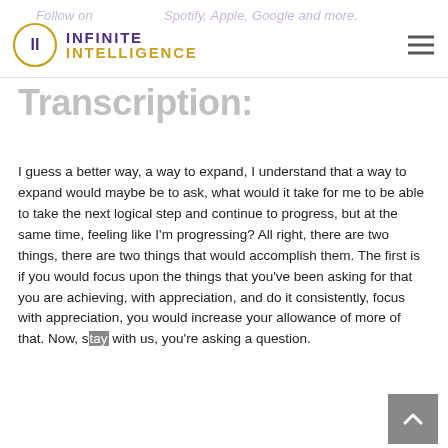Follow on Spotify, Apple, Google and more.
Transcription:
I guess a better way, a way to expand, I understand that a way to expand would maybe be to ask, what would it take for me to be able to take the next logical step and continue to progress, but at the same time, feeling like I'm progressing? All right, there are two things, there are two things that would accomplish them. The first is if you would focus upon the things that you've been asking for that you are achieving, with appreciation, and do it consistently, focus with appreciation, you would increase your allowance of more of that. Now, stay with us, you're asking a question.